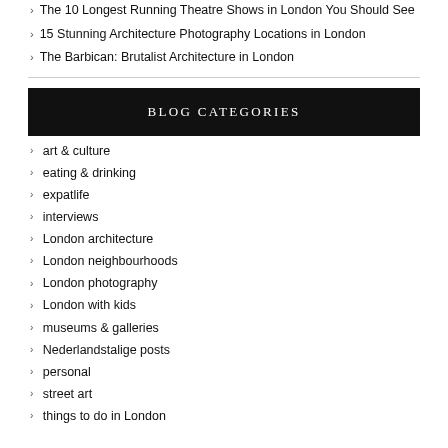The 10 Longest Running Theatre Shows in London You Should See
15 Stunning Architecture Photography Locations in London
The Barbican: Brutalist Architecture in London
BLOG CATEGORIES
art & culture
eating & drinking
expatlife
interviews
London architecture
London neighbourhoods
London photography
London with kids
museums & galleries
Nederlandstalige posts
personal
street art
things to do in London